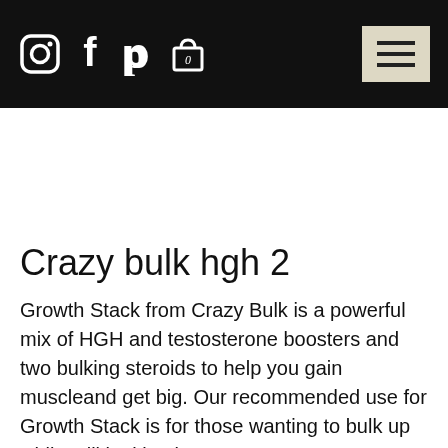[Navigation bar with Instagram, Facebook, Pinterest, cart (0), and hamburger menu icons]
Crazy bulk hgh 2
Growth Stack from Crazy Bulk is a powerful mix of HGH and testosterone boosters and two bulking steroids to help you gain muscleand get big. Our recommended use for Growth Stack is for those wanting to bulk up while still looking lean.
When used right it will have no negative